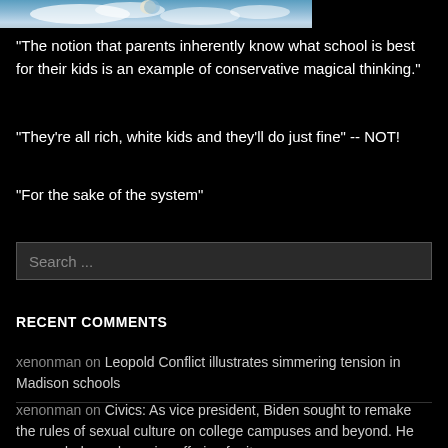[Figure (photo): Partial image of sky with clouds and a moon, dark top portion visible]
"The notion that parents inherently know what school is best for their kids is an example of conservative magical thinking."
"They're all rich, white kids and they'll do just fine" -- NOT!
"For the sake of the system"
Search ...
RECENT COMMENTS
xenonman on Leopold Conflict illustrates simmering tension in Madison schools
xenonman on Civics: As vice president, Biden sought to remake the rules of sexual culture on college campuses and beyond. He succeeded—and now is suffering for it.